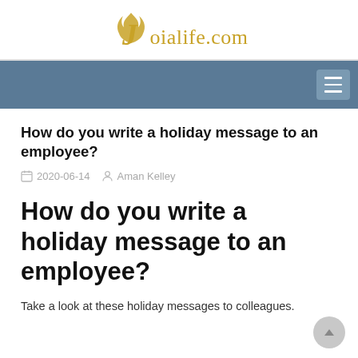Joialife.com
How do you write a holiday message to an employee?
2020-06-14   Aman Kelley
How do you write a holiday message to an employee?
Take a look at these holiday messages to colleagues.